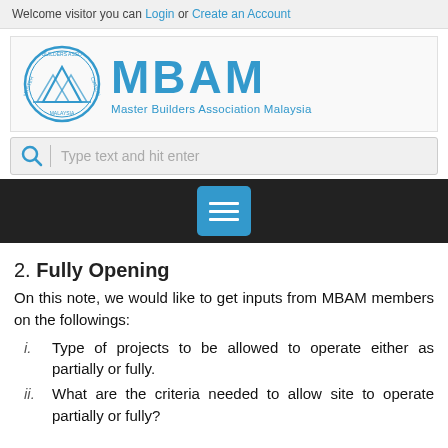Welcome visitor you can Login or Create an Account
[Figure (logo): MBAM Master Builders Association Malaysia logo with circular emblem on left and blue MBAM text with subtitle on right]
Type text and hit enter
2. Fully Opening
On this note, we would like to get inputs from MBAM members on the followings:
i. Type of projects to be allowed to operate either as partially or fully.
ii. What are the criteria needed to allow site to operate partially or fully?